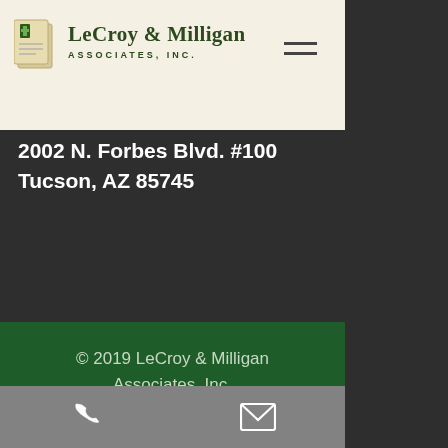[Figure (logo): LeCroy & Milligan Associates, Inc. logo with a document/file icon on a beige background with hamburger menu icon]
2002 N. Forbes Blvd. #100
Tucson, AZ 85745
© 2019 LeCroy & Milligan Associates, Inc.
[Figure (other): Bottom gray bar with phone and email icons]